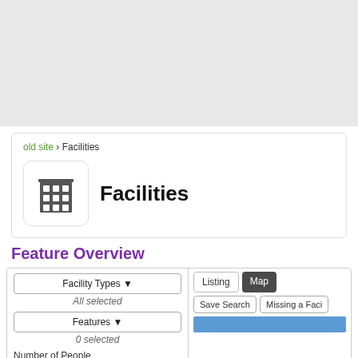[Figure (screenshot): Gray banner area at top of page]
old site › Facilities
Facilities
Feature Overview
[Figure (screenshot): UI screenshot showing facility search filters on the left (Facility Types dropdown with All selected, Features dropdown with 0 selected, Number of People label) and a Listing/Map tab panel on the right with Save Search and Missing a Faci buttons and a blue bar chart below]